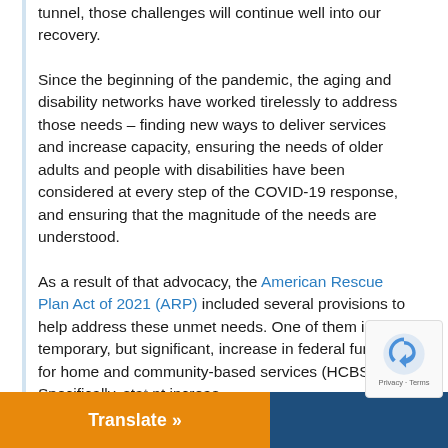tunnel, those challenges will continue well into our recovery.
Since the beginning of the pandemic, the aging and disability networks have worked tirelessly to address those needs – finding new ways to deliver services and increase capacity, ensuring the needs of older adults and people with disabilities have been considered at every step of the COVID-19 response, and ensuring that the magnitude of the needs are understood.
As a result of that advocacy, the American Rescue Plan Act of 2021 (ARP) included several provisions to help address these unmet needs. One of them is a temporary, but significant, increase in federal funding for home and community-based services (HCBS). Specifically, sta[tes] [were] [required] to [increas]...
Translate »
Submit Feedback